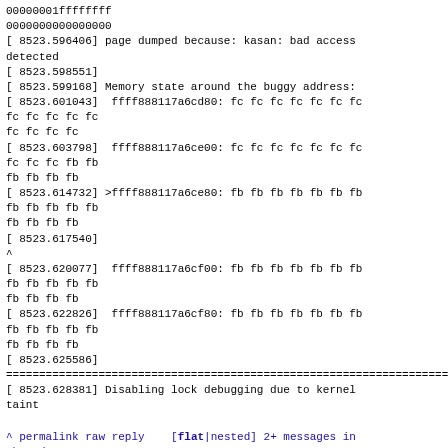00000001ffffffff
0000000000000000
[ 8523.596406] page dumped because: kasan: bad access detected
[ 8523.598551]
[ 8523.599168] Memory state around the buggy address:
[ 8523.601043]  ffff888117a6cd80: fc fc fc fc fc fc fc fc fc fc fc fc
fc fc fc fc
[ 8523.603798]  ffff888117a6ce00: fc fc fc fc fc fc fc fc fc fc fb fb
fb fb fb fb
[ 8523.614732] >ffff888117a6ce80: fb fb fb fb fb fb fb fb fb fb fb fb
fb fb fb fb
[ 8523.617540]
^
[ 8523.620077]  ffff888117a6cf00: fb fb fb fb fb fb fb fb fb fb fb fb
fb fb fb fb
[ 8523.622826]  ffff888117a6cf80: fb fb fb fb fb fb fb fb fb fb fb fb
fb fb fb fb
[ 8523.625586]
================================================================================
[ 8523.628381] Disabling lock debugging due to kernel taint
^ permalink raw reply  [flat|nested] 2+ messages in thread